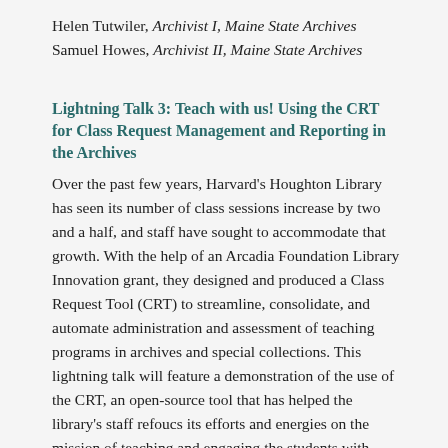Helen Tutwiler, Archivist I, Maine State Archives
Samuel Howes, Archivist II, Maine State Archives
Lightning Talk 3: Teach with us! Using the CRT for Class Request Management and Reporting in the Archives
Over the past few years, Harvard's Houghton Library has seen its number of class sessions increase by two and a half, and staff have sought to accommodate that growth. With the help of an Arcadia Foundation Library Innovation grant, they designed and produced a Class Request Tool (CRT) to streamline, consolidate, and automate administration and assessment of teaching programs in archives and special collections. This lightning talk will feature a demonstration of the use of the CRT, an open-source tool that has helped the library's staff refoucs its efforts and energies on the mission of teaching and engaging the students with primary sources.